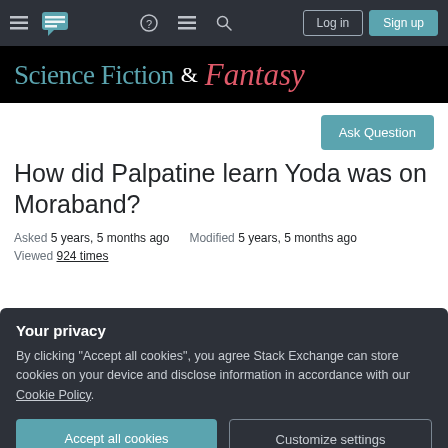Science Fiction & Fantasy Stack Exchange navigation bar with Log in and Sign up buttons
[Figure (screenshot): Science Fiction & Fantasy Stack Exchange site banner with teal serif text and coral italic fantasy script]
How did Palpatine learn Yoda was on Moraband?
Asked 5 years, 5 months ago   Modified 5 years, 5 months ago
Viewed 924 times
Your privacy
By clicking "Accept all cookies", you agree Stack Exchange can store cookies on your device and disclose information in accordance with our Cookie Policy.
Accept all cookies
Customize settings